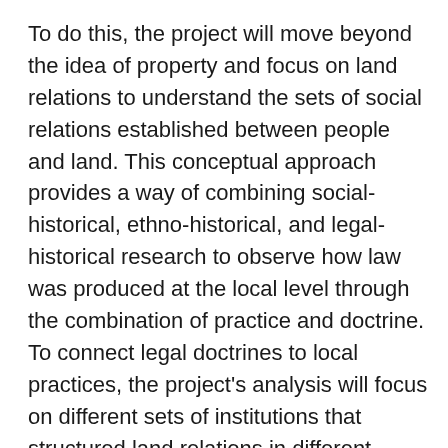To do this, the project will move beyond the idea of property and focus on land relations to understand the sets of social relations established between people and land. This conceptual approach provides a way of combining social-historical, ethno-historical, and legal-historical research to observe how law was produced at the local level through the combination of practice and doctrine. To connect legal doctrines to local practices, the project's analysis will focus on different sets of institutions that structured land relations in different places in the Iberian world. This conceptual and analytical framework will be applied to six case studies focusing on Mexico, Goa, Cape Verde, Spain, Brazil and the Philippines, enabling us to overcome the diffusionist mindset that has pervaded the study of law and empire. Moreover, it shifts the focus of the study of land tenure onto the multiplicity